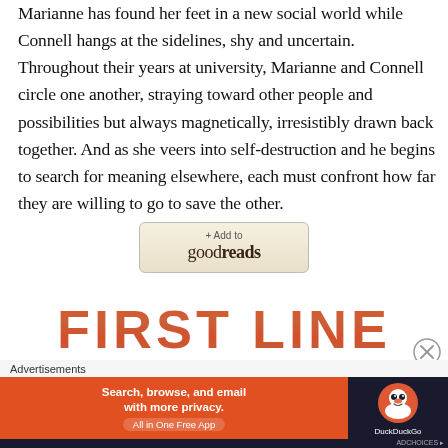Marianne has found her feet in a new social world while Connell hangs at the sidelines, shy and uncertain. Throughout their years at university, Marianne and Connell circle one another, straying toward other people and possibilities but always magnetically, irresistibly drawn back together. And as she veers into self-destruction and he begins to search for meaning elsewhere, each must confront how far they are willing to go to save the other.
[Figure (logo): Goodreads '+ Add to goodreads' button with beige/tan background and rounded border]
[Figure (logo): FIRST LINE text logo in large copper/rust gradient uppercase serif letters]
[Figure (other): Circle X close button icon]
Advertisements
[Figure (screenshot): DuckDuckGo advertisement banner: orange left panel with 'Search, browse, and email with more privacy. All in One Free App' and dark right panel with DuckDuckGo duck logo]